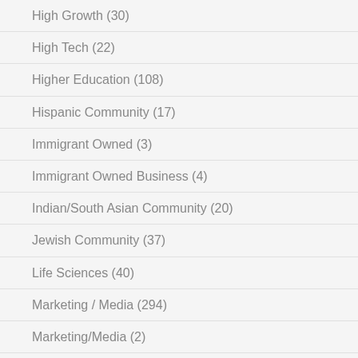High Growth (30)
High Tech (22)
Higher Education (108)
Hispanic Community (17)
Immigrant Owned (3)
Immigrant Owned Business (4)
Indian/South Asian Community (20)
Jewish Community (37)
Life Sciences (40)
Marketing / Media (294)
Marketing/Media (2)
Minority Owned Business (115)
Neighborhood Based (8)
Online Product/Service Provider (85)
Pre-Seed (1)
Professional Services (63)
Research / Tech Transfer (49)
Services (?)